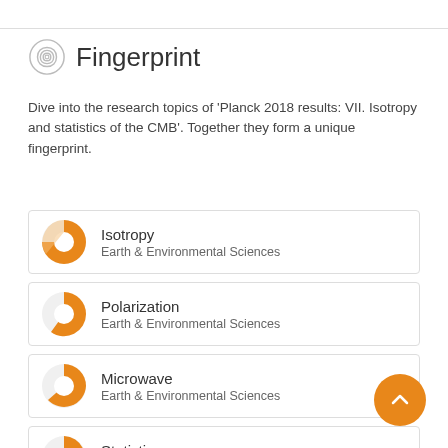Fingerprint
Dive into the research topics of 'Planck 2018 results: VII. Isotropy and statistics of the CMB'. Together they form a unique fingerprint.
Isotropy — Earth & Environmental Sciences
Polarization — Earth & Environmental Sciences
Microwave — Earth & Environmental Sciences
Statistics — Physics & Astronomy